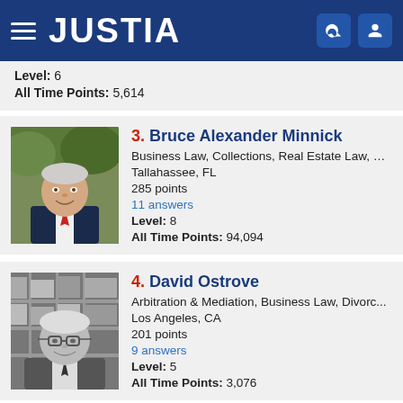JUSTIA
Level: 6
All Time Points: 5,614
[Figure (photo): Portrait photo of Bruce Alexander Minnick, an older man in a suit with a red tie, outdoors with greenery in background]
3. Bruce Alexander Minnick
Business Law, Collections, Real Estate Law, Es...
Tallahassee, FL
285 points
11 answers
Level: 8
All Time Points: 94,094
[Figure (photo): Black and white portrait photo of David Ostrove, an older man with glasses, with bookshelves in background]
4. David Ostrove
Arbitration & Mediation, Business Law, Divorc...
Los Angeles, CA
201 points
9 answers
Level: 5
All Time Points: 3,076